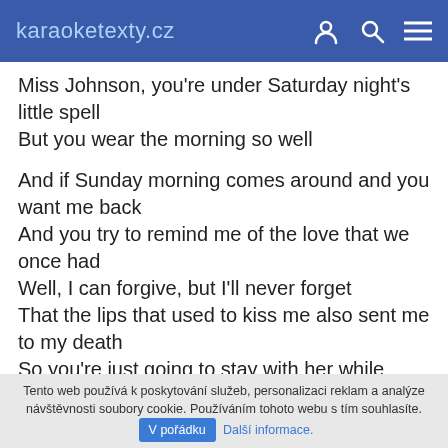karaoketexty.cz
Miss Johnson, you're under Saturday night's little spell
But you wear the morning so well
And if Sunday morning comes around and you want me back
And you try to remind me of the love that we once had
Well, I can forgive, but I'll never forget
That the lips that used to kiss me also sent me to my death
So you're just going to stay with her while you're still in love with me?
Tento web používá k poskytování služeb, personalizaci reklam a analýze návštěvnosti soubory cookie. Používáním tohoto webu s tím souhlasíte. V pořádku Další informace.